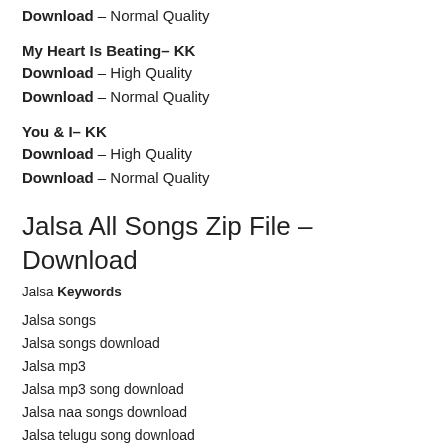Download – Normal Quality
My Heart Is Beating– KK
Download – High Quality
Download – Normal Quality
You & I– KK
Download – High Quality
Download – Normal Quality
Jalsa All Songs Zip File – Download
Jalsa Keywords
Jalsa songs
Jalsa songs download
Jalsa mp3
Jalsa mp3 song download
Jalsa naa songs download
Jalsa telugu song download
Jalsa telugu movie song download